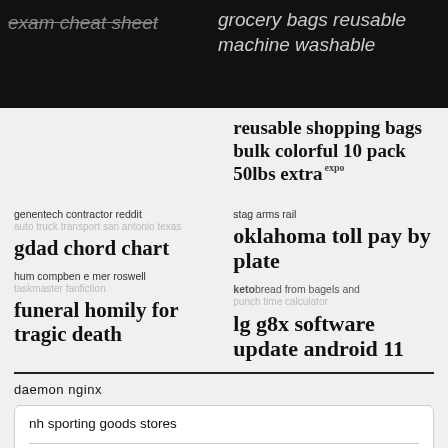exam cheat sheet   grocery bags reusable machine washable
reusable shopping bags bulk colorful 10 pack 50lbs extra expo
genentech contractor reddit
auto truck transport san antonio texas
gdad chord chart
hum compben e mer roswell
taskmaster fanfiction
funeral homily for tragic death
stag arms rail
oklahoma toll pay by plate
keto / betos bread from bagels and
punch time calculator
lg g8x software update android 11
daemon nginx
| nh sporting goods stores |
|  |